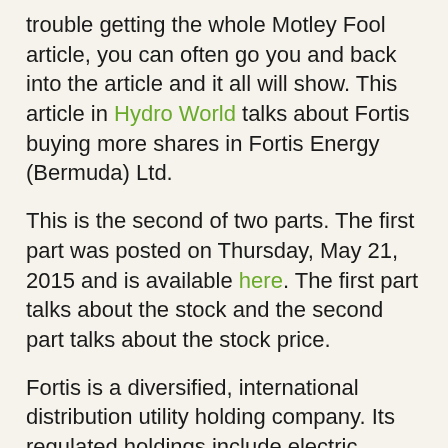trouble getting the whole Motley Fool article, you can often go you and back into the article and it all will show. This article in Hydro World talks about Fortis buying more shares in Fortis Energy (Bermuda) Ltd.
This is the second of two parts. The first part was posted on Thursday, May 21, 2015 and is available here. The first part talks about the stock and the second part talks about the stock price.
Fortis is a diversified, international distribution utility holding company. Its regulated holdings include electric distribution utilities in five Canadian provinces and three Caribbean countries and a natural gas utility in British Columbia. Fortis owns and operates non-regulated generation assets across Canada and in Belize and Upper New York State. It also owns hotels and commercial office and retail space primarily in Atlantic Canada. Its web site is here Fortis.
This blog is meant for educational purposes only, and is not to provide investment advice. Before making any investment decision, you should always do your own research or consult a professional financial advisor before.